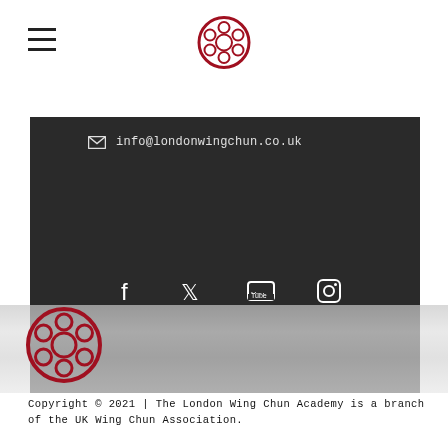[Figure (logo): London Wing Chun Academy circular logo with red flower/wheel design, shown in header nav bar]
info@londonwingchun.co.uk
[Figure (infographic): Social media icons: Facebook, Twitter, YouTube, Instagram in white on dark background]
[Figure (illustration): Marble/stone texture decorative band]
[Figure (logo): London Wing Chun Academy circular logo with red flower/wheel design, shown in footer]
Copyright © 2021 | The London Wing Chun Academy is a branch of the UK Wing Chun Association.